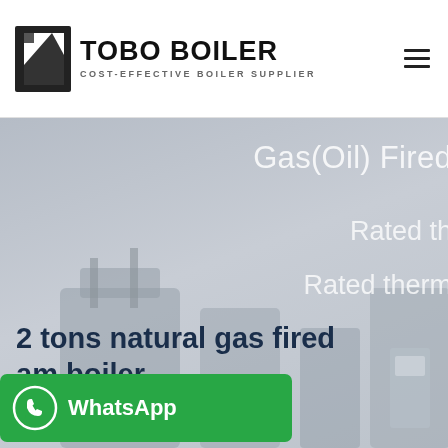[Figure (logo): TOBO BOILER logo with geometric icon and tagline COST-EFFECTIVE BOILER SUPPLIER]
[Figure (photo): Website screenshot showing a gas/oil fired boiler product page with hero banner. Text overlays read 'Gas(Oil) Fired', 'Rated th', 'Rated therm' (partially cropped). Bottom shows '2 tons natural gas fired am boiler' (partially cropped). A green WhatsApp button overlay is visible at bottom left.]